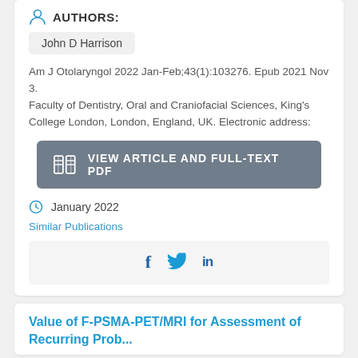AUTHORS:
John D Harrison
Am J Otolaryngol 2022 Jan-Feb;43(1):103276. Epub 2021 Nov 3.
Faculty of Dentistry, Oral and Craniofacial Sciences, King's College London, London, England, UK. Electronic address:
[Figure (other): Button: VIEW ARTICLE AND FULL-TEXT PDF]
January 2022
Similar Publications
[Figure (other): Social media share icons: Facebook, Twitter, LinkedIn]
Value of F-PSMA-PET/MRI for Assessment of Recurring Prostate...